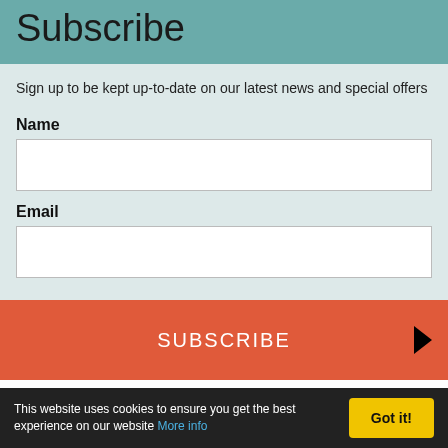Subscribe
Sign up to be kept up-to-date on our latest news and special offers
Name
Email
SUBSCRIBE
» Tour Focus » Beginners Birding
This website uses cookies to ensure you get the best experience on our website More info
Got it!